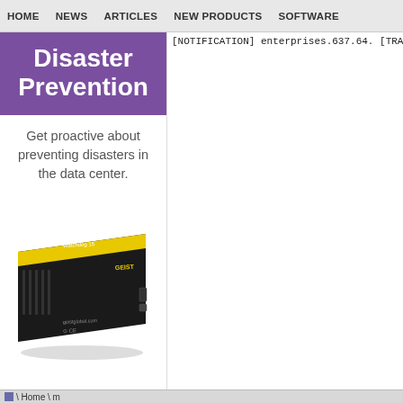HOME   NEWS   ARTICLES   NEW PRODUCTS   SOFTWARE
Disaster Prevention
Get proactive about preventing disasters in the data center.
[Figure (photo): A black hardware device (Watchdog 15) with yellow stripe branding, by GEIST, geistglobal.com, CE certified]
[NOTIFICATION] enterprises.637.64.
[TRAP] enterprises.637.64.0.10.1.2
[TRAP] enterprises.637.64.0.10.1.2
[TRAP] enterprises.637.64.0.10.1.2
[TRAP] enterprises.637.64.0.10.1.2
[NOTIFICATION] enterprises.637.64.
[TRAP] enterprises.637.64.0.10.1.2
[TRAP] enterprises.637.64.0.10.1.2
[TRAP] enterprises.637.64.0.10.1.2
[TRAP] enterprises.637.64.0.10.1.2
[NOTIFICATION] enterprises.637.64.
[TRAP] enterprises.637.64.0.10.1.2
[TRAP] enterprises.637.64.0.10.1.2
[TRAP] enterprises.637.64.0.10.1.2
[TRAP] enterprises.637.64.0.10.1.2
[NOTIFICATION] enterprises.637.64.
[TRAP] enterprises.637.64.0.10.1.2
[TRAP] enterprises.637.64.0.10.1.2
[TRAP] enterprises.637.64.0.10.1.2
[TRAP] enterprises.637.64.0.10.1.2
[NOTIFICATION] enterprises.637.64.
[TRAP] enterprises.637.64.0.10.1.2
[TRAP] enterprises.637.64.0.10.1.2
[TRAP] enterprises.637.64.0.10.1.2
[TRAP] enterprises.637.64.0.10.1.2
[NOTIFICATION] enterprises.637.64.
⊠ \ Home \ m